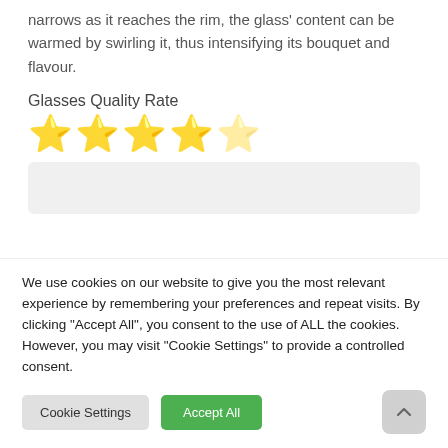narrows as it reaches the rim, the glass' content can be warmed by swirling it, thus intensifying its bouquet and flavour.
Glasses Quality Rate
[Figure (other): 4 gold stars and 1 gray/half star rating display]
[Figure (other): Gray rounded rectangle box (empty content area)]
We use cookies on our website to give you the most relevant experience by remembering your preferences and repeat visits. By clicking "Accept All", you consent to the use of ALL the cookies. However, you may visit "Cookie Settings" to provide a controlled consent.
Cookie Settings | Accept All (buttons) | Up arrow button